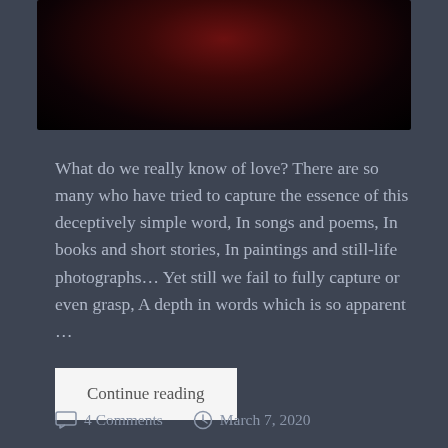[Figure (photo): Dark photograph showing what appears to be red candlelight or roses against a very dark, near-black background]
What do we really know of love? There are so many who have tried to capture the essence of this deceptively simple word, In songs and poems, In books and short stories, In paintings and still-life photographs... Yet still we fail to fully capture or even grasp, A depth in words which is so apparent ...
Continue reading
4 Comments   March 7, 2020